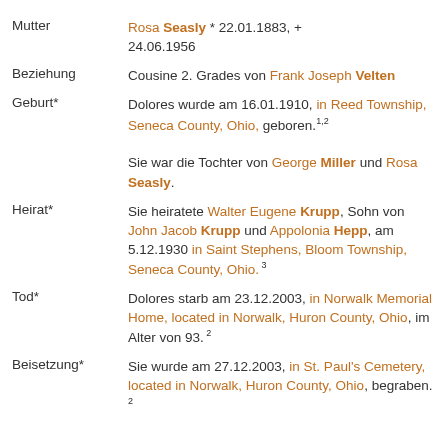Mutter: Rosa Seasly * 22.01.1883, + 24.06.1956
Beziehung: Cousine 2. Grades von Frank Joseph Velten
Geburt*: Dolores wurde am 16.01.1910, in Reed Township, Seneca County, Ohio, geboren. 1,2 Sie war die Tochter von George Miller und Rosa Seasly.
Heirat*: Sie heiratete Walter Eugene Krupp, Sohn von John Jacob Krupp und Appolonia Hepp, am 5.12.1930 in Saint Stephens, Bloom Township, Seneca County, Ohio. 3
Tod*: Dolores starb am 23.12.2003, in Norwalk Memorial Home, located in Norwalk, Huron County, Ohio, im Alter von 93. 2
Beisetzung*: Sie wurde am 27.12.2003, in St. Paul's Cemetery, located in Norwalk, Huron County, Ohio, begraben. 2